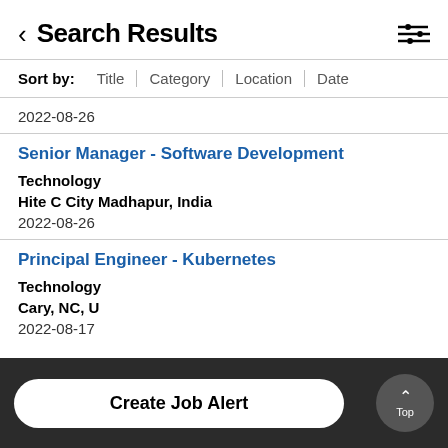Search Results
Sort by: Title | Category | Location | Date
2022-08-26
Senior Manager - Software Development
Technology
Hite C City Madhapur, India
2022-08-26
Principal Engineer - Kubernetes
Technology
Cary, NC, U
2022-08-17
Create Job Alert